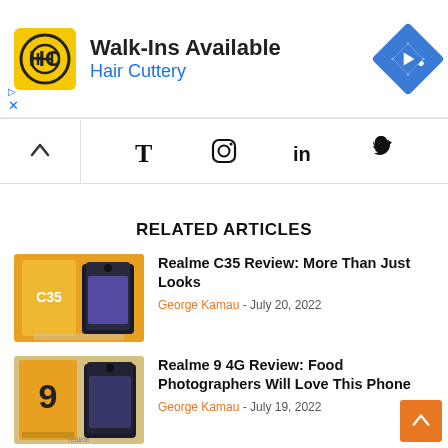[Figure (infographic): Hair Cuttery advertisement banner with yellow logo, 'Walk-Ins Available' heading, 'Hair Cuttery' subtext in blue, and a blue diamond navigation icon]
[Figure (infographic): Social media sharing bar with up chevron and icons for Tumblr, Instagram, LinkedIn, and Twitter]
RELATED ARTICLES
[Figure (photo): Realme C35 phone product photo with yellow box]
Realme C35 Review: More Than Just Looks
George Kamau - July 20, 2022
[Figure (photo): Realme 9 4G phone product photo with yellow box showing number 9]
Realme 9 4G Review: Food Photographers Will Love This Phone
George Kamau - July 19, 2022